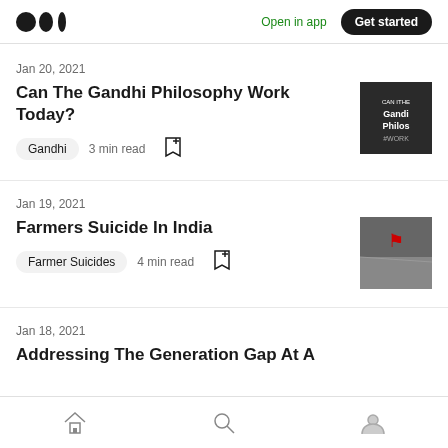Medium logo | Open in app | Get started
Jan 20, 2021
Can The Gandhi Philosophy Work Today?
Gandhi  3 min read
Jan 19, 2021
Farmers Suicide In India
Farmer Suicides  4 min read
Jan 18, 2021
Addressing The Generation Gap At A
Home | Search | Profile